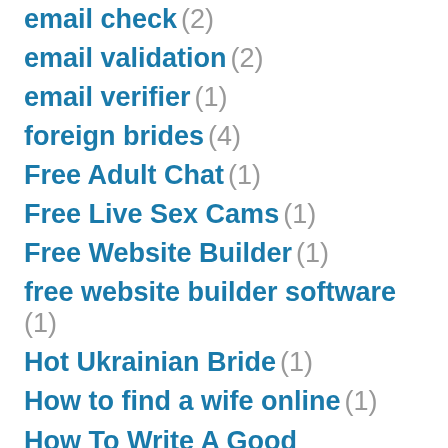email check (2)
email validation (2)
email verifier (1)
foreign brides (4)
Free Adult Chat (1)
Free Live Sex Cams (1)
Free Website Builder (1)
free website builder software (1)
Hot Ukrainian Bride (1)
How to find a wife online (1)
How To Write A Good Concluding Sentence (2)